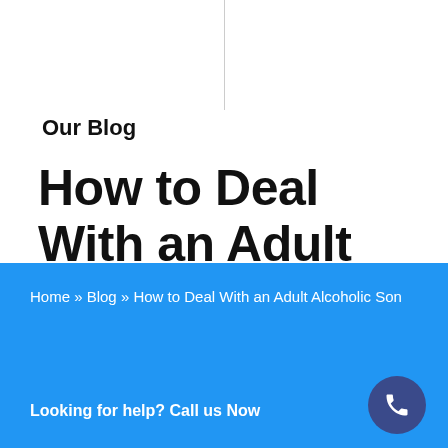Our Blog
How to Deal With an Adult Alcoholic Son
Home » Blog » How to Deal With an Adult Alcoholic Son
Looking for help? Call us Now